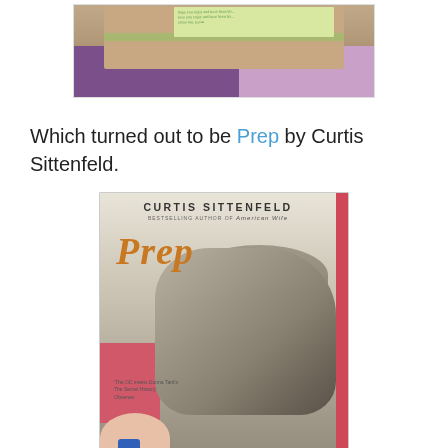[Figure (photo): Photo of a wrapped book package with a green ribbon/twine bow and a handwritten note card on top, sitting on purple/lavender knitted fabric background]
Which turned out to be Prep by Curtis Sittenfeld.
[Figure (photo): Photo of the book cover of 'Prep' by Curtis Sittenfeld. The cover shows a young woman wearing a beanie hat looking upward, in sepia/muted tones. The author name 'CURTIS SITTENFELD' appears at the top, followed by 'BESTSELLING AUTHOR OF American Wife', then the title 'PREP' in large orange/gold italic letters. A blurb reads: 'The OC meets Donna Tartt's The Secret History' Observer. A hand with a blue painted fingernail is visible holding the book at the bottom.]